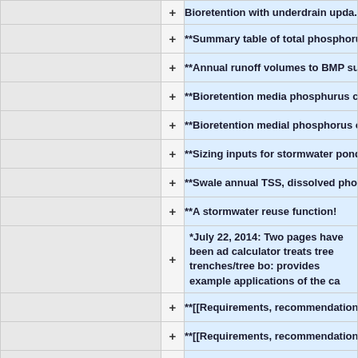| (left) | + | Content |
| --- | --- | --- |
|  | + | Bioretention with underdrain upda... |
|  | + | **Summary table of total phosphorus a |
|  | + | **Annual runoff volumes to BMP summ |
|  | + | **Bioretention media phosphurus cred |
|  | + | **Bioretention medial phosphorus cre |
|  | + | **Sizing inputs for stormwater ponds |
|  | + | **Swale annual TSS, dissolved phospho |
|  | + | **A stormwater reuse function! |
|  | + | *July 22, 2014: Two pages have been ad calculator treats tree trenches/tree bo: provides example applications of the ca |
|  | + | **[[Requirements, recommendations a |
|  | + | **[[Requirements, recommendations a |
|  | + | *May 19, 2014: The Minimal Impact Des |
|  | + | *April 23: A page addressing [[Stormw |